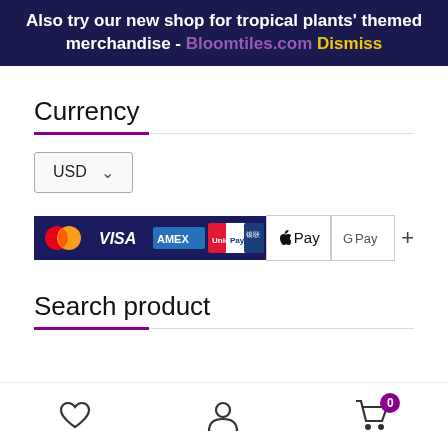Also try our new shop for tropical plants' themed merchandise - Bloomtiles.com Dismiss
Currency
[Figure (other): USD currency dropdown selector]
[Figure (other): Payment method icons: MasterCard, VISA, AMEX, UnionPay, Apple Pay, Google Pay, and more]
Search product
[Figure (other): Bottom navigation bar with heart/wishlist icon, user/account icon, and shopping cart icon with badge showing 0]